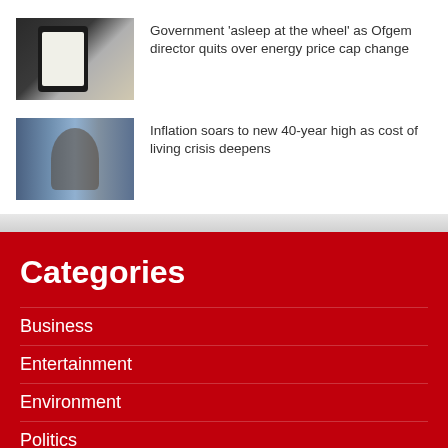[Figure (photo): Smartphone showing an energy bill on screen, with coins in background]
Government ‘asleep at the wheel’ as Ofgem director quits over energy price cap change
[Figure (photo): Person with shopping cart in supermarket aisle]
Inflation soars to new 40-year high as cost of living crisis deepens
Categories
Business
Entertainment
Environment
Politics